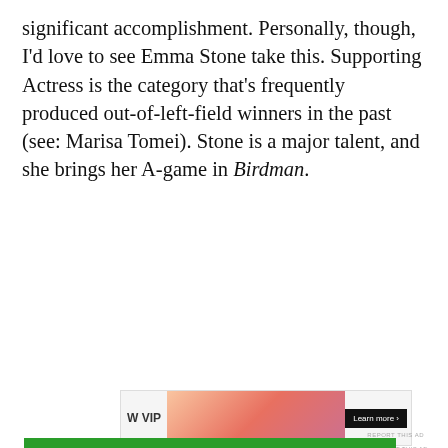significant accomplishment. Personally, though, I'd love to see Emma Stone take this. Supporting Actress is the category that's frequently produced out-of-left-field winners in the past (see: Marisa Tomei). Stone is a major talent, and she brings her A-game in Birdman.
[Figure (other): Advertisement banner showing 'W VIP' logo on left, gradient orange/pink background in center, dark button with 'Learn more' text on right]
Privacy & Cookies: This site uses cookies. By continuing to use this website, you agree to their use.
To find out more, including how to control cookies, see here: Cookie Policy
Close and accept